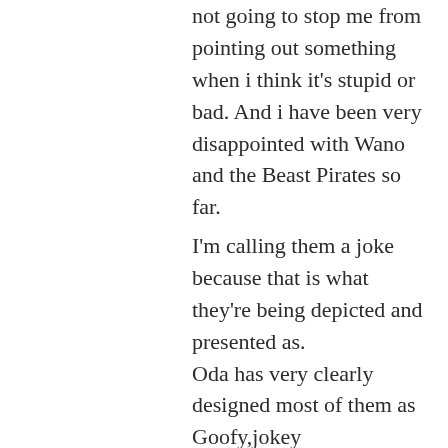not going to stop me from pointing out something when i think it's stupid or bad. And i have been very disappointed with Wano and the Beast Pirates so far.
I'm calling them a joke because that is what they're being depicted and presented as. Oda has very clearly designed most of them as Goofy,jokey characters.That is how he's